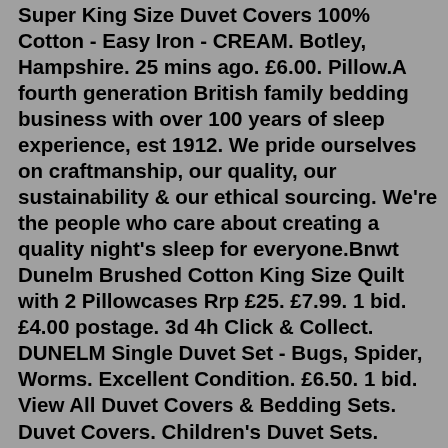Super King Size Duvet Covers 100% Cotton - Easy Iron - CREAM. Botley, Hampshire. 25 mins ago. £6.00. Pillow.A fourth generation British family bedding business with over 100 years of sleep experience, est 1912. We pride ourselves on craftmanship, our quality, our sustainability & our ethical sourcing. We're the people who care about creating a quality night's sleep for everyone.Bnwt Dunelm Brushed Cotton King Size Quilt with 2 Pillowcases Rrp £25. £7.99. 1 bid. £4.00 postage. 3d 4h Click & Collect. DUNELM Single Duvet Set - Bugs, Spider, Worms. Excellent Condition. £6.50. 1 bid. View All Duvet Covers & Bedding Sets. Duvet Covers. Children's Duvet Sets. Single Duvet Sets. Double Duvet Sets. King Duvet Sets. Mattress Protectors. Mattress Protectors. Back to Mattress Protectors. View All Mattress Protectors. Pillows. Pillows. ... Home Decor Sale Home Decor Sale ...RUIKASI King Size Duvet Cover Set - Microfiber Kingsize Duvet Cover with 2 Pillowcases, Ultra Soft Quilt Bedding Cover with Zipper Closure, White 4.4 out of 5 stars